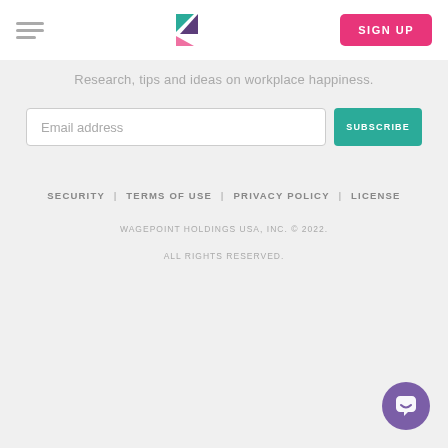Menu | Wagepoint Logo | SIGN UP
Research, tips and ideas on workplace happiness.
Email address [input] SUBSCRIBE
SECURITY | TERMS OF USE | PRIVACY POLICY | LICENSE
WAGEPOINT HOLDINGS USA, INC. © 2022. ALL RIGHTS RESERVED.
[Figure (illustration): Purple circular chat support button with speech bubble icon in bottom right corner]